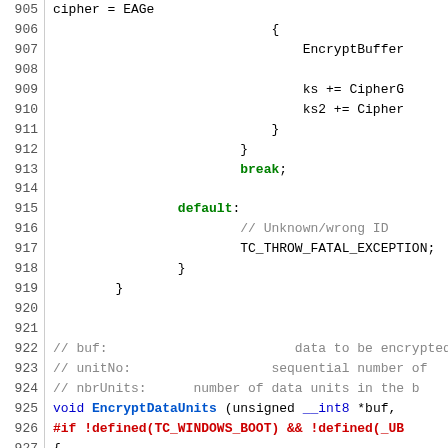[Figure (screenshot): Source code listing showing C++ code for encryption functions, lines 905-934, with syntax highlighting: green for keywords like break/default, blue for types, red for preprocessor directives, and gray for comments.]